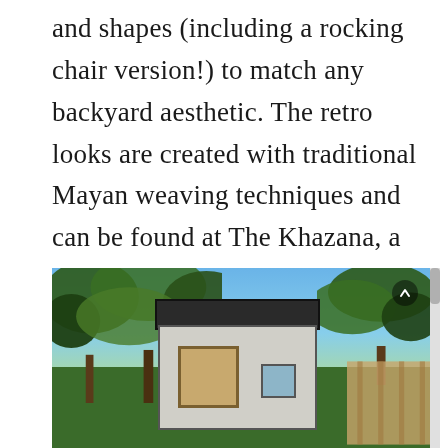and shapes (including a rocking chair version!) to match any backyard aesthetic. The retro looks are created with traditional Mayan weaving techniques and can be found at The Khazana, a family-owned furniture store with two showrooms in Austin filled with distinct home goods inspired by travel.
[Figure (photo): Outdoor photo of a modern small building or studio structure with a flat dark roof and large glass doors with orange/wood frames, surrounded by trees with green foliage under a blue sky.]